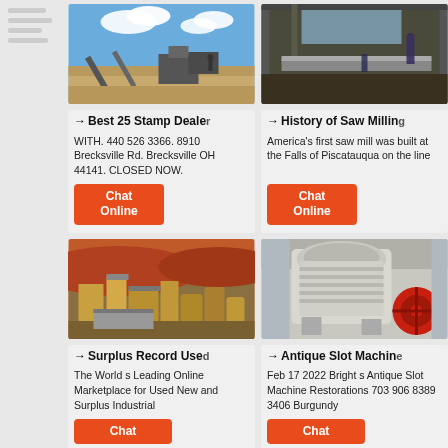[Figure (photo): Open-air mining or quarry site with conveyor belt equipment under blue sky with clouds]
→ Best 25 Stamp Dealers WITH. 440 526 3366. 8910 Brecksville Rd. Brecksville OH 44141. CLOSED NOW.
Chat Online
[Figure (photo): Industrial saw mill interior with machinery and workers]
→ History of Saw Milling America's first saw mill was built at the Falls of Piscatauqua on the line
Chat Online
[Figure (photo): Aerial view of industrial surplus machinery and equipment yard with yellow structures]
→ Surplus Record Used The World s Leading Online Marketplace for Used New and Surplus Industrial
Chat
[Figure (photo): Large industrial cone crusher machine with red wheel in factory setting]
→ Antique Slot Machines Feb 17 2022  Bright s Antique Slot Machine Restorations 703 906 8389 3406 Burgundy
Chat